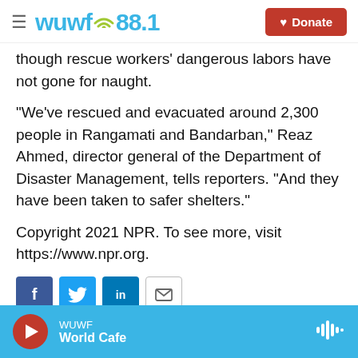WUWF 88.1 | Donate
though rescue workers' dangerous labors have not gone for naught.
"We've rescued and evacuated around 2,300 people in Rangamati and Bandarban," Reaz Ahmed, director general of the Department of Disaster Management, tells reporters. "And they have been taken to safer shelters."
Copyright 2021 NPR. To see more, visit https://www.npr.org.
WUWF | World Cafe